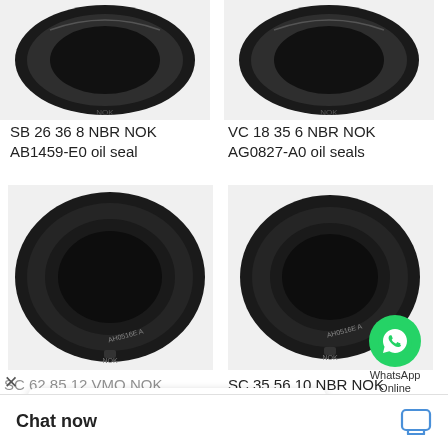[Figure (photo): Top-left: NOK oil seal ring viewed from above, dark rubber, circular]
[Figure (photo): Top-right: NOK oil seal ring viewed from above, dark rubber, circular]
SB 26 36 8 NBR NOK AB1459-E0 oil seal
VC 18 35 6 NBR NOK AG0827-A0 oil seals
[Figure (photo): Middle-left: NOK oil seal ring viewed from above, dark rubber, larger diameter]
[Figure (photo): Middle-right: NOK oil seal ring viewed from above, dark rubber, with WhatsApp Online overlay]
SC 62 85 12 VMQ NOK AC3297-A4 oil seal
SC 35 56 10 NBR NOK AC2094-E0 oil seals
Hello, how may I help you?
Chat now